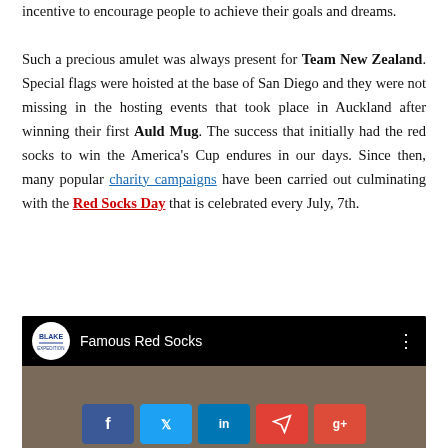incentive to encourage people to achieve their goals and dreams.
Such a precious amulet was always present for Team New Zealand. Special flags were hoisted at the base of San Diego and they were not missing in the hosting events that took place in Auckland after winning their first Auld Mug. The success that initially had the red socks to win the America's Cup endures in our days. Since then, many popular charity campaigns have been carried out culminating with the Red Socks Day that is celebrated every July, 7th.
[Figure (screenshot): YouTube-style video embed showing 'Famous Red Socks' with Blake logo, black header bar, crowd thumbnail, and social sharing buttons (Facebook, Twitter, LinkedIn, Telegram, Google+) at the bottom.]